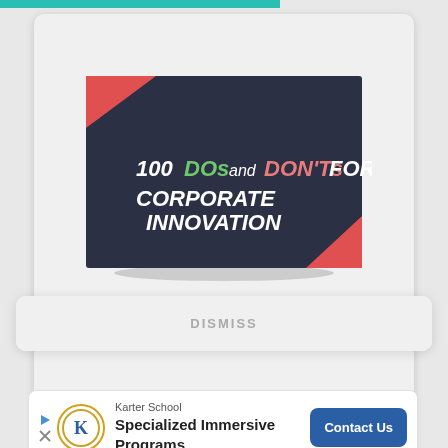[Figure (illustration): A dark navy book cover titled '100 DOs and DON'Ts FOR CORPORATE INNOVATION' with red corner accents, displayed at an angle on a light grey card background.]
DISMISS
[Figure (logo): Karter School logo — circular badge with K initial and gold laurel border]
Karter School
Specialized Immersive Programs
Contact Us